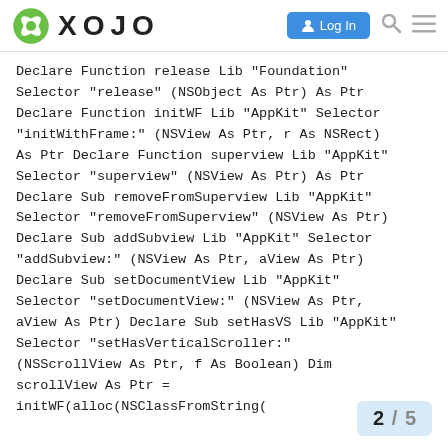XOJO — Log In
Declare Function release Lib "Foundation" Selector "release" (NSObject As Ptr) As Ptr Declare Function initWF Lib "AppKit" Selector "initWithFrame:" (NSView As Ptr, r As NSRect) As Ptr Declare Function superview Lib "AppKit" Selector "superview" (NSView As Ptr) As Ptr Declare Sub removeFromSuperview Lib "AppKit" Selector "removeFromSuperview" (NSView As Ptr) Declare Sub addSubview Lib "AppKit" Selector "addSubview:" (NSView As Ptr, aView As Ptr) Declare Sub setDocumentView Lib "AppKit" Selector "setDocumentView:" (NSView As Ptr, aView As Ptr) Declare Sub setHasVS Lib "AppKit" Selector "setHasVerticalScroller:" (NSScrollView As Ptr, f As Boolean) Dim scrollView As Ptr = initWF(alloc(NSClassFromString(
2 / 5